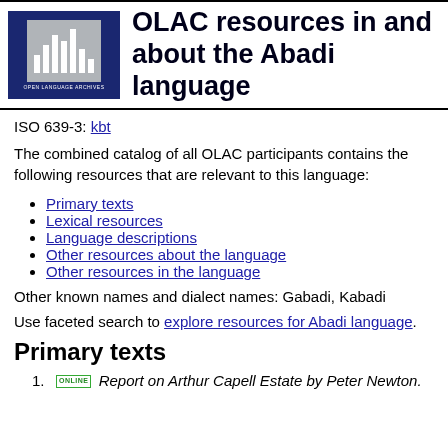[Figure (logo): OLAC Open Language Archives logo — dark blue square with grey inner box containing white vertical bars, text 'OPEN LANGUAGE ARCHIVES' below]
OLAC resources in and about the Abadi language
ISO 639-3: kbt
The combined catalog of all OLAC participants contains the following resources that are relevant to this language:
Primary texts
Lexical resources
Language descriptions
Other resources about the language
Other resources in the language
Other known names and dialect names: Gabadi, Kabadi
Use faceted search to explore resources for Abadi language.
Primary texts
ONLINE Report on Arthur Capell Estate by Peter Newton.